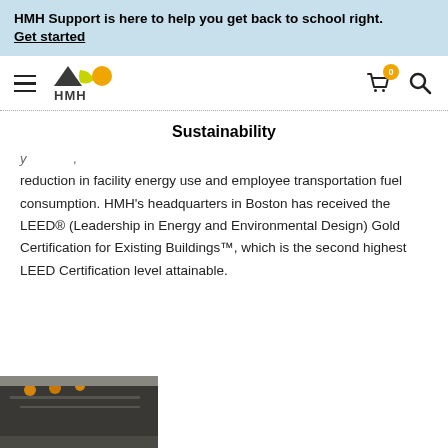HMH Support is here to help you get back to school right. Get started
[Figure (logo): HMH logo with triangle, leaf, and circle shapes above the text HMH]
Sustainability
reduction in facility energy use and employee transportation fuel consumption. HMH's headquarters in Boston has received the LEED® (Leadership in Energy and Environmental Design) Gold Certification for Existing Buildings™, which is the second highest LEED Certification level attainable.
[Figure (photo): Partial photo of a building or vehicle rooftop with lights, bottom-left corner]